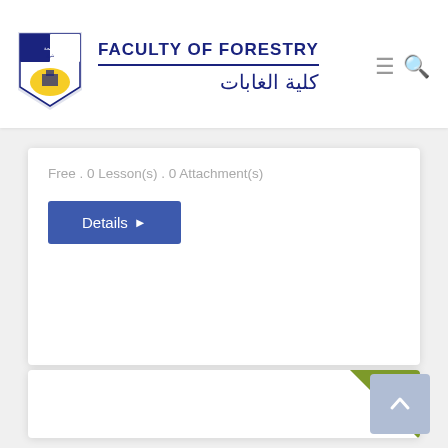FACULTY OF FORESTRY | كلية الغابات
Free . 0 Lesson(s) . 0 Attachment(s)
Details →
[Figure (screenshot): Green FREE ribbon badge in top-right corner of a course card]
[Figure (screenshot): Scroll-to-top button, light blue-grey square with upward arrow icon]